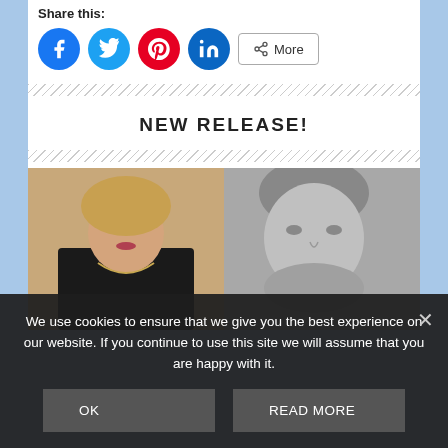Share this:
[Figure (screenshot): Social sharing icons: Facebook (blue circle), Twitter (light blue circle), Pinterest (red circle), LinkedIn (dark blue circle), and a More button with share icon]
[Figure (photo): Two people side by side: left is a woman in a black tank top with a necklace (color photo), right is a man facing slightly left (black and white photo)]
NEW RELEASE!
We use cookies to ensure that we give you the best experience on our website. If you continue to use this site we will assume that you are happy with it.
OK
READ MORE